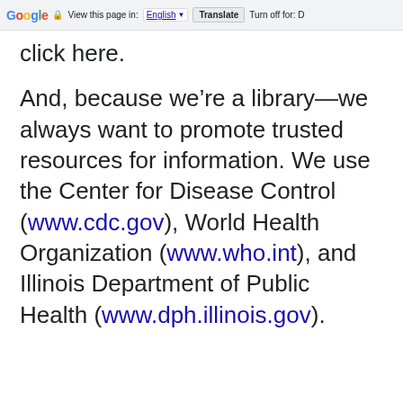Google | View this page in: English [▼] | Translate | Turn off for: D
click here.
And, because we’re a library—we always want to promote trusted resources for information. We use the Center for Disease Control (www.cdc.gov), World Health Organization (www.who.int), and Illinois Department of Public Health (www.dph.illinois.gov).